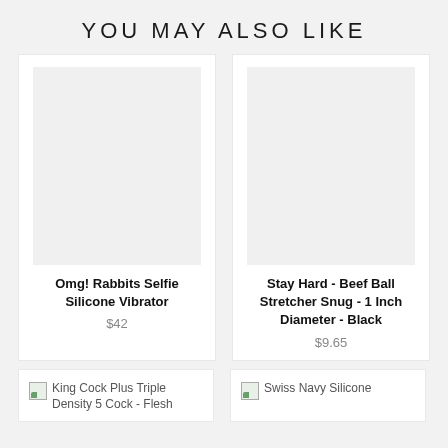YOU MAY ALSO LIKE
[Figure (photo): Product image placeholder for Omg! Rabbits Selfie Silicone Vibrator - light gray rectangle]
Omg! Rabbits Selfie Silicone Vibrator
$42
[Figure (photo): Product image placeholder for Stay Hard - Beef Ball Stretcher Snug - 1 Inch Diameter - Black - light gray rectangle]
Stay Hard - Beef Ball Stretcher Snug - 1 Inch Diameter - Black
$9.65
King Cock Plus Triple Density 5 Cock - Flesh
Swiss Navy Silicone